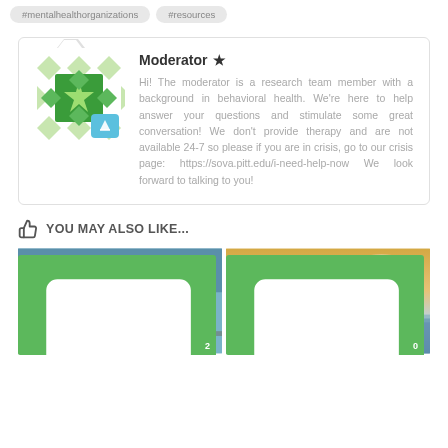#mentalhealthorganizations
#resources
Moderator ★
Hi! The moderator is a research team member with a background in behavioral health. We're here to help answer your questions and stimulate some great conversation! We don't provide therapy and are not available 24-7 so please if you are in crisis, go to our crisis page: https://sova.pitt.edu/i-need-help-now We look forward to talking to you!
YOU MAY ALSO LIKE...
[Figure (photo): Photo of a woman with a camera outdoors with a comment badge showing 2]
[Figure (photo): Stylized text image reading 'Just Breathe' over ocean background with a comment badge showing 0]